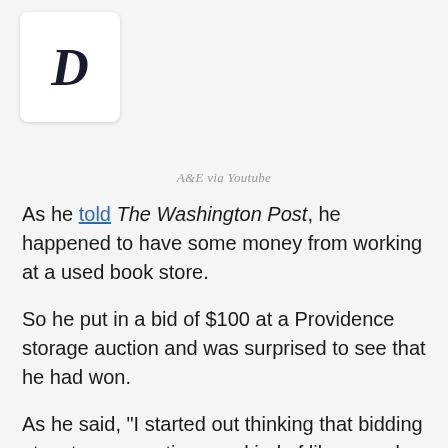[Figure (logo): Dark italic bold letter D logo in a white rounded card]
A&E via Youtube
As he told The Washington Post, he happened to have some money from working at a used book store.
So he put in a bid of $100 at a Providence storage auction and was surprised to see that he had won.
As he said, "I started out thinking that bidding at a storage auction was kind of like a yard sale, but now I know that's not true."
And he came to that realization as soon as